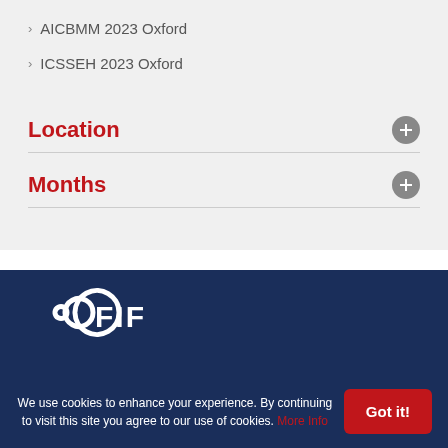AICBMM 2023 Oxford
ICSSEH 2023 Oxford
Location
Months
[Figure (logo): WAOE/FIF organization logo in white on dark blue background]
We use cookies to enhance your experience. By continuing to visit this site you agree to our use of cookies. More Info